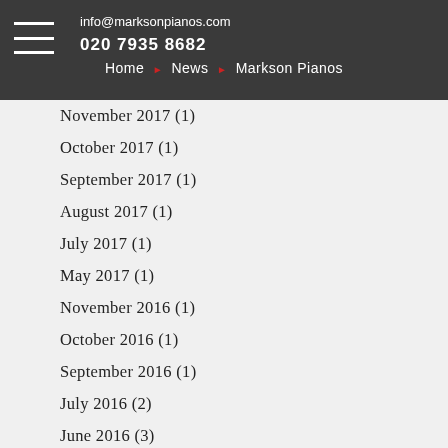info@marksonpianos.com  020 7935 8682  Home » News » Markson Pianos
November 2017 (1)
October 2017 (1)
September 2017 (1)
August 2017 (1)
July 2017 (1)
May 2017 (1)
November 2016 (1)
October 2016 (1)
September 2016 (1)
July 2016 (2)
June 2016 (3)
May 2016 (5)
April 2016 (5)
March 2016 (5)
February 2016 (3)
September 2015 (1)